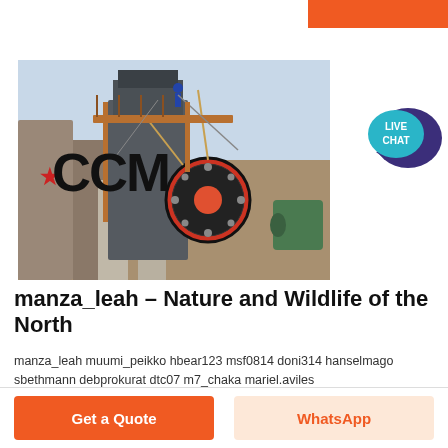[Figure (photo): Industrial crushing/mining equipment with CCM logo overlay. Large machinery with flywheel, conveyor structure, and workers visible at a quarry or mine site.]
manza_leah – Nature and Wildlife of the North
manza_leah muumi_peikko hbear123 msf0814 doni314 hanselmago sbethmann debprokurat dtc07 m7_chaka mariel.aviles
Get a Quote
WhatsApp